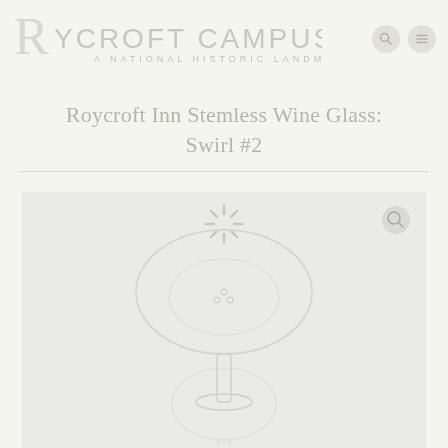Roycroft Campus - A National Historic Landmark
Roycroft Inn Stemless Wine Glass: Swirl #2
[Figure (photo): Product photo of a stemless wine glass with swirl design, shown against a light background. The glass appears translucent/white against a pale grey background. A magnify/zoom icon is visible in the top right of the image area.]